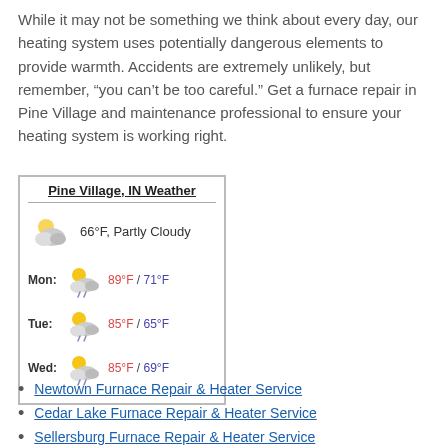While it may not be something we think about every day, our heating system uses potentially dangerous elements to provide warmth. Accidents are extremely unlikely, but remember, “you can’t be too careful.” Get a furnace repair in Pine Village and maintenance professional to ensure your heating system is working right.
[Figure (infographic): Pine Village, IN Weather widget showing current conditions (66°F, Partly Cloudy) and 3-day forecast: Mon 89°F/71°F, Tue 85°F/65°F, Wed 85°F/69°F]
Newtown Furnace Repair & Heater Service
Cedar Lake Furnace Repair & Heater Service
Sellersburg Furnace Repair & Heater Service